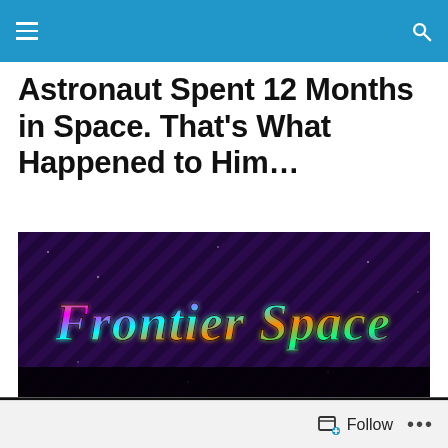Navigation bar with menu and search icons
Astronaut Spent 12 Months in Space. That’s What Happened to Him...
[Figure (illustration): Dark banner image with diagonal purple/blue hatch pattern background and stylized metallic gothic text reading 'Frontier Space']
Date: August 27, 2022
Follow  …